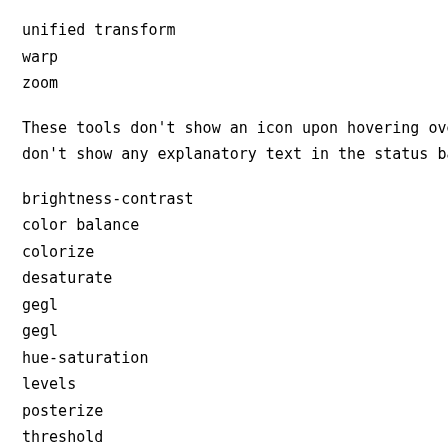unified transform
warp
zoom
These tools don't show an icon upon hovering over th don't show any explanatory text in the status bar:
brightness-contrast
color balance
colorize
desaturate
gegl
gegl
hue-saturation
levels
posterize
threshold
(As an aside, the second gegl icon doesn't seem to d if you click on the image, the history dialog shows